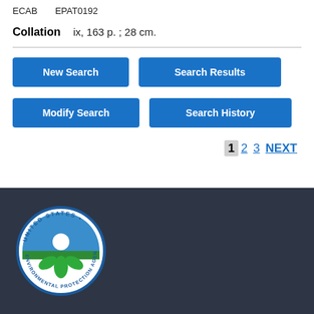ECAB     EPAT0192
Collation    ix, 163 p. ; 28 cm.
New Search | Search Results | Modify Search | Search History
1 2 3 NEXT
[Figure (logo): United States Environmental Protection Agency circular seal logo with blue sky, green leaves, and white sun in center]